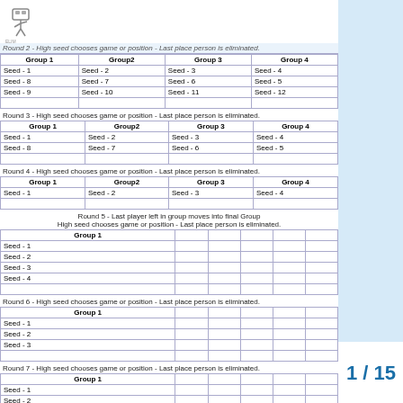[Figure (logo): Game/sport logo illustration]
Round 2 - High seed chooses game or position - Last place person is eliminated.
| Group 1 | Group2 | Group 3 | Group 4 |
| --- | --- | --- | --- |
| Seed - 1 | Seed - 2 | Seed - 3 | Seed - 4 |
| Seed - 8 | Seed - 7 | Seed - 6 | Seed - 5 |
| Seed - 9 | Seed - 10 | Seed - 11 | Seed - 12 |
Round 3 - High seed chooses game or position - Last place person is eliminated.
| Group 1 | Group2 | Group 3 | Group 4 |
| --- | --- | --- | --- |
| Seed - 1 | Seed - 2 | Seed - 3 | Seed - 4 |
| Seed - 8 | Seed - 7 | Seed - 6 | Seed - 5 |
Round 4 - High seed chooses game or position - Last place person is eliminated.
| Group 1 | Group2 | Group 3 | Group 4 |
| --- | --- | --- | --- |
| Seed - 1 | Seed - 2 | Seed - 3 | Seed - 4 |
Round 5 - Last player left in group moves into final Group
High seed chooses game or position - Last place person is eliminated.
| Group 1 |  |  |  |  |  |
| --- | --- | --- | --- | --- | --- |
| Seed - 1 |  |  |  |  |  |
| Seed - 2 |  |  |  |  |  |
| Seed - 3 |  |  |  |  |  |
| Seed - 4 |  |  |  |  |  |
Round 6 - High seed chooses game or position - Last place person is eliminated.
| Group 1 |  |  |  |  |  |
| --- | --- | --- | --- | --- | --- |
| Seed - 1 |  |  |  |  |  |
| Seed - 2 |  |  |  |  |  |
| Seed - 3 |  |  |  |  |  |
Round 7 - High seed chooses game or position - Last place person is eliminated.
| Group 1 |  |  |  |  |  |
| --- | --- | --- | --- | --- | --- |
| Seed - 1 |  |  |  |  |  |
| Seed - 2 |  |  |  |  |  |
Round 8 - High seed chooses game or position - Last place person is eliminated
| Group 1 |  |  |  |  |  |
| --- | --- | --- | --- | --- | --- |
1 / 15